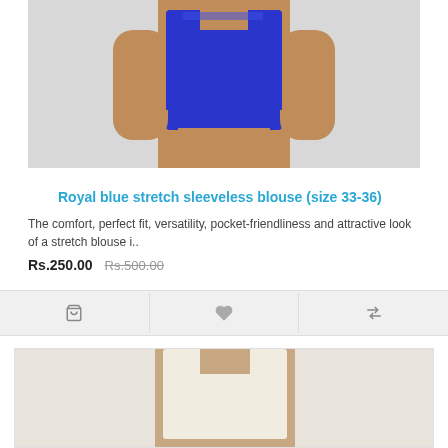[Figure (photo): Mannequin wearing a royal blue stretch sleeveless crop blouse on a light background]
Royal blue stretch sleeveless blouse (size 33-36)
The comfort, perfect fit, versatility, pocket-friendliness and attractive look of a stretch blouse i..
Rs.250.00   Rs.500.00
[Figure (infographic): Action bar with cart icon, heart/wishlist icon, and compare icon]
[Figure (photo): Bottom portion of a second product card showing the top of a mannequin wearing a light/white garment]